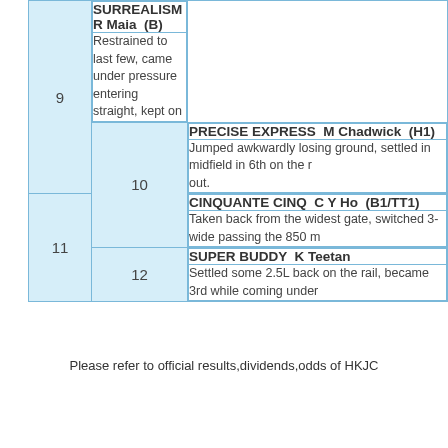| # | Horse / Comment |
| --- | --- |
| 9 | SURREALISM  R Maia  (B) |
| 9 | Restrained to last few, came under pressure entering straight, kept on |
| 10 | PRECISE EXPRESS  M Chadwick  (H1) |
| 10 | Jumped awkwardly losing ground, settled in midfield in 6th on the rail, out. |
| 11 | CINQUANTE CINQ  C Y Ho  (B1/TT1) |
| 11 | Taken back from the widest gate, switched 3-wide passing the 850 m |
| 12 | SUPER BUDDY  K Teetan |
| 12 | Settled some 2.5L back on the rail, became 3rd while coming under |
Please refer to official results,dividends,odds of HKJC